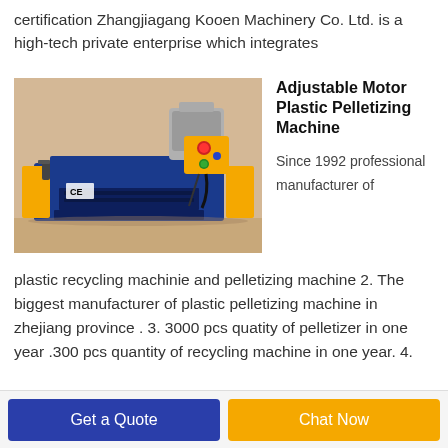certification Zhangjiagang Kooen Machinery Co. Ltd. is a high-tech private enterprise which integrates
[Figure (photo): A yellow and blue plastic pelletizing machine with CE marking, motor on top, and control buttons on the side.]
Adjustable Motor Plastic Pelletizing Machine
Since 1992 professional manufacturer of plastic recycling machinie and pelletizing machine 2. The biggest manufacturer of plastic pelletizing machine in zhejiang province . 3. 3000 pcs quatity of pelletizer in one year .300 pcs quantity of recycling machine in one year. 4.
Get a Quote
Chat Now